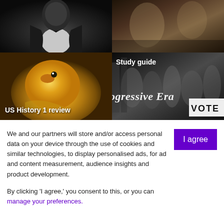[Figure (photo): Top-left: Black and white historical portrait of a man in a dark suit with white shirt and bow tie]
[Figure (photo): Top-right: Historical sepia/warm-toned scene with multiple figures]
US History 1 review
[Figure (photo): Bottom-left: Close-up photograph of a yellow duckling]
Study guide
[Figure (photo): Bottom-right: Black and white photograph from the Progressive Era showing people with a VOTE sign]
We and our partners will store and/or access personal data on your device through the use of cookies and similar technologies, to display personalised ads, for ad and content measurement, audience insights and product development.
By clicking 'I agree,' you consent to this, or you can manage your preferences.